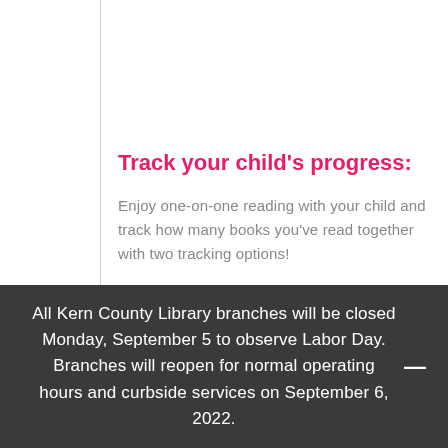Track your child's progress:
Enjoy one-on-one reading with your child and track how many books you've read together with two tracking options!
One is with our adorable reading log available
All Kern County Library branches will be closed Monday, September 5 to observe Labor Day. Branches will reopen for normal operating hours and curbside services on September 6, 2022.